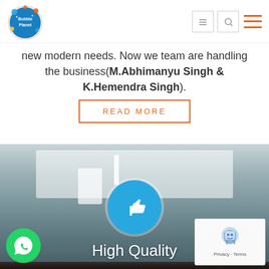[Figure (logo): Bubble Planet logo - colorful circular logo with bubbles and text]
new modern needs. Now we team are handling the business(M.Abhimanyu Singh & K.Hemendra Singh).
READ MORE
[Figure (photo): Bathroom counter/sink area with white fixtures shown in background]
[Figure (illustration): Blue circle with white thumbs up icon]
High Quality
[Figure (photo): Dark wood drawer cabinet in lower section]
[Figure (illustration): Blue circle with white money/banknote icon]
[Figure (logo): WhatsApp green circular button logo]
[Figure (illustration): Google reCAPTCHA widget with robot icon, Privacy and Terms links]